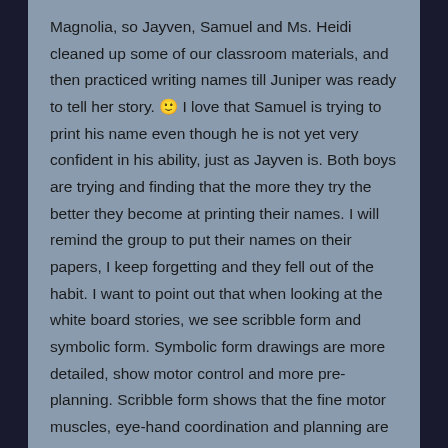Magnolia, so Jayven, Samuel and Ms. Heidi cleaned up some of our classroom materials, and then practiced writing names till Juniper was ready to tell her story. 🙂 I love that Samuel is trying to print his name even though he is not yet very confident in his ability, just as Jayven is. Both boys are trying and finding that the more they try the better they become at printing their names. I will remind the group to put their names on their papers, I keep forgetting and they fell out of the habit. I want to point out that when looking at the white board stories, we see scribble form and symbolic form. Symbolic form drawings are more detailed, show motor control and more pre-planning. Scribble form shows that the fine motor muscles, eye-hand coordination and planning are not yet solidified. These skills are still developing and are a wonderful example of children ready for letter writing, short word strings, etc., or not. Just because we have